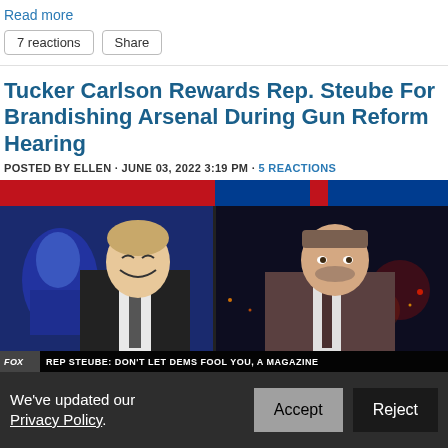Read more
7 reactions   Share
Tucker Carlson Rewards Rep. Steube For Brandishing Arsenal During Gun Reform Hearing
POSTED BY ELLEN · JUNE 03, 2022 3:19 PM · 5 REACTIONS
[Figure (screenshot): Fox News split-screen showing Tucker Carlson laughing on the left and Rep. Steube on the right, with Fox News bar at top and ticker at bottom reading REP STEUBE: DON'T LET DEMS FOOL YOU, A MAGAZINE]
We've updated our Privacy Policy.   Accept   Reject